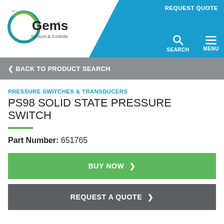[Figure (logo): Gems Sensors & Controls logo with blue swoosh graphic]
REQUEST QUOTE
SEARCH
MENU
< BACK TO PRODUCT SEARCH
PRESSURE SWITCHES & TRANSDUCERS
PS98 SOLID STATE PRESSURE SWITCH
Part Number: 651765
BUY NOW >
REQUEST A QUOTE >